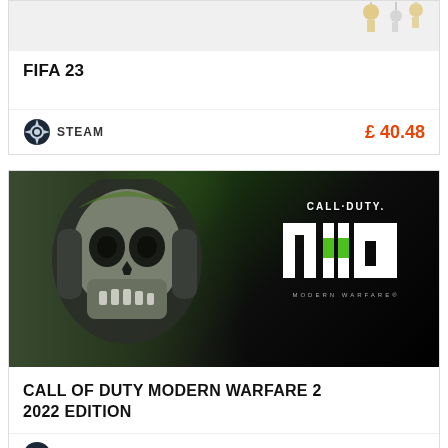[Figure (screenshot): FIFA 23 game product listing card showing partial image at top with decorative elements]
FIFA 23
STEAM  £ 40.48
[Figure (photo): Call of Duty Modern Warfare 2 game cover art showing Ghost skull mask character on left with green background and game logo on right]
CALL OF DUTY MODERN WARFARE 2 2022 EDITION